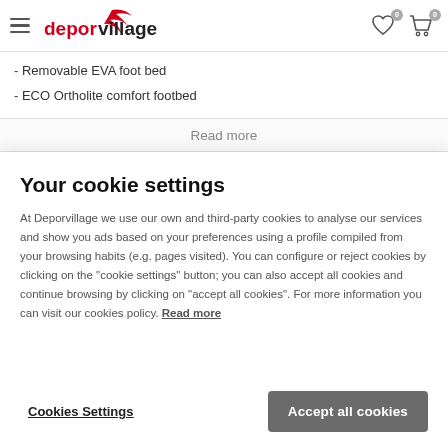deporvillage
- Removable EVA foot bed
- ECO Ortholite comfort footbed
Read more
Your cookie settings
At Deporvillage we use our own and third-party cookies to analyse our services and show you ads based on your preferences using a profile compiled from your browsing habits (e.g. pages visited). You can configure or reject cookies by clicking on the "cookie settings" button; you can also accept all cookies and continue browsing by clicking on "accept all cookies". For more information you can visit our cookies policy. Read more
Cookies Settings
Accept all cookies